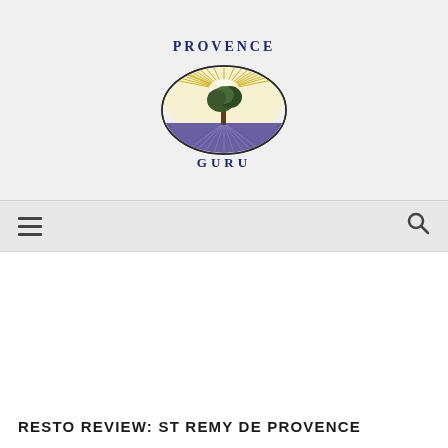[Figure (logo): Provence Guru logo: oval shape with radiating golden rays, an olive tree in center, lavender field below, text PROVENCE above and GURU below]
☰  🔍
RESTO REVIEW: ST REMY DE PROVENCE